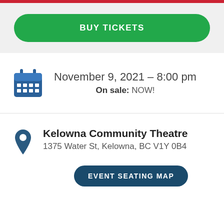BUY TICKETS
November 9, 2021 – 8:00 pm
On sale: NOW!
Kelowna Community Theatre
1375 Water St, Kelowna, BC V1Y 0B4
EVENT SEATING MAP